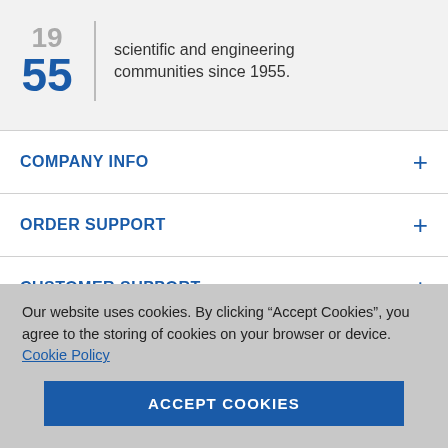scientific and engineering communities since 1955.
COMPANY INFO
ORDER SUPPORT
CUSTOMER SUPPORT
Cole-Parmer France
BP55437 ROISSY Charles de Gaulle, 95944 France
Our website uses cookies. By clicking “Accept Cookies”, you agree to the storing of cookies on your browser or device. Cookie Policy